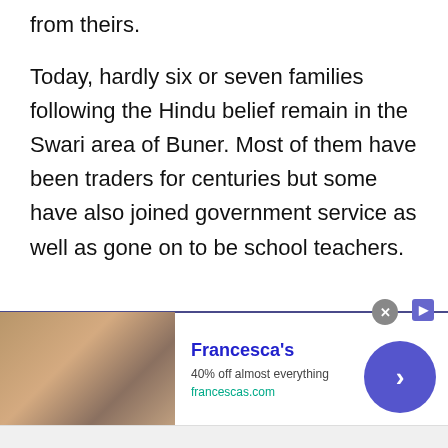from theirs.
Today, hardly six or seven families following the Hindu belief remain in the Swari area of Buner. Most of them have been traders for centuries but some have also joined government service as well as gone on to be school teachers.
[Figure (screenshot): Advertisement banner for Francesca's: '40% off almost everything' at francescas.com, with a photo of women, a close button, and a circular blue arrow CTA button.]